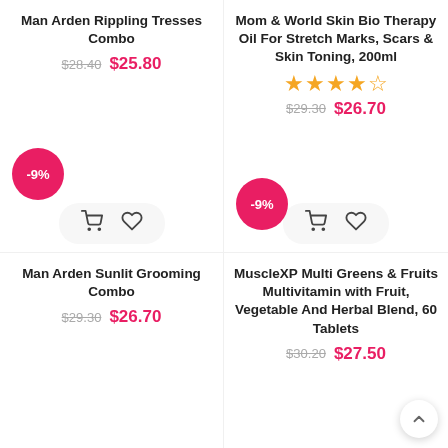Man Arden Rippling Tresses Combo
$28.40  $25.80
-9%
Mom & World Skin Bio Therapy Oil For Stretch Marks, Scars & Skin Toning, 200ml
★★★★½
$29.30  $26.70
-9%
Man Arden Sunlit Grooming Combo
$29.30  $26.70
-9%
MuscleXP Multi Greens & Fruits Multivitamin with Fruit, Vegetable And Herbal Blend, 60 Tablets
$30.20  $27.50
-9%